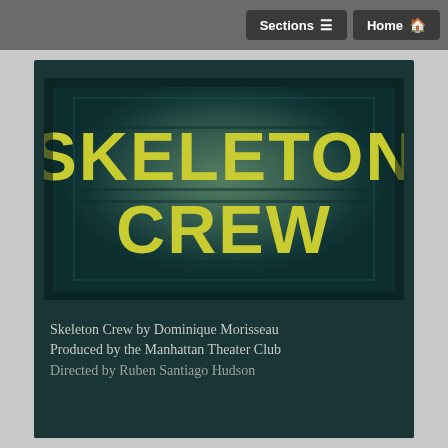Sections  Home
[Figure (illustration): Skeleton Crew theatrical poster: dark teal background with bold yellow-green stencil text reading SKELETON CREW, with a glowing spotlight effect behind the text on a dark stage-like background.]
Skeleton Crew by Dominique Morisseau
Produced by the Manhattan Theater Club
Directed by Ruben Santiago Hudson